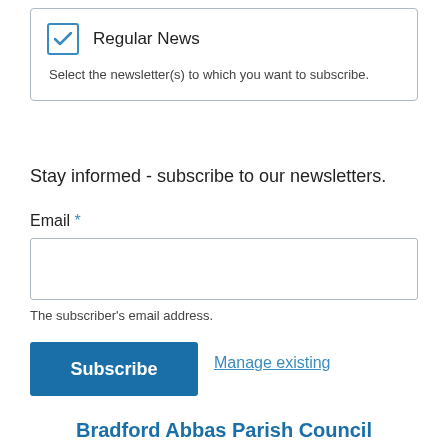[Figure (other): Checkbox UI element with blue checkmark labeled 'Regular News' inside a bordered box, with hint text 'Select the newsletter(s) to which you want to subscribe.']
Stay informed - subscribe to our newsletters.
Email *
[Figure (other): Empty email text input field with border]
The subscriber's email address.
Subscribe
Manage existing
Bradford Abbas Parish Council